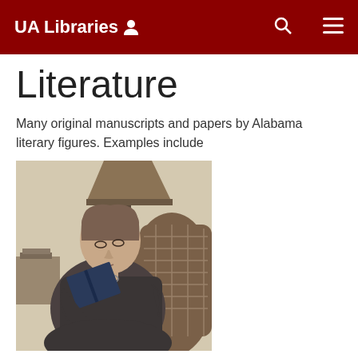UA Libraries
Literature
Many original manuscripts and papers by Alabama literary figures. Examples include
[Figure (photo): Black and white photograph of a woman sitting in a wicker chair reading a book, with a lamp in the background.]
Elise Ayers Sanguinetti papers (MSS.0098) – Contains the correspondence, manuscripts and galley proofs, as well as reviews and notices of Elise Ayers Sanguinetti, the Alabama author of